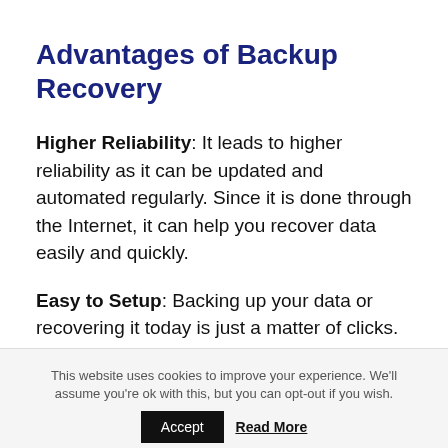Advantages of Backup Recovery
Higher Reliability: It leads to higher reliability as it can be updated and automated regularly. Since it is done through the Internet, it can help you recover data easily and quickly.
Easy to Setup: Backing up your data or recovering it today is just a matter of clicks. It
This website uses cookies to improve your experience. We'll assume you're ok with this, but you can opt-out if you wish. Accept  Read More